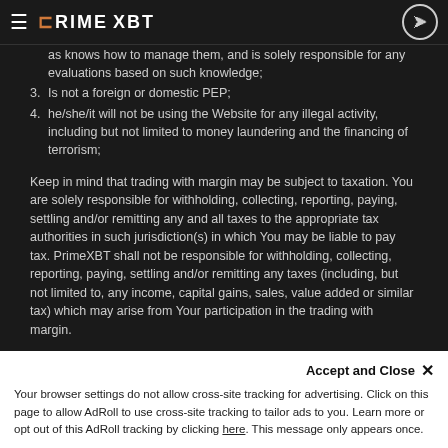PrimeXBT
trading, cryptocurrencies and Blockchain-based systems, as well as knows how to manage them, and is solely responsible for any evaluations based on such knowledge;
3. Is not a foreign or domestic PEP;
4. he/she/it will not be using the Website for any illegal activity, including but not limited to money laundering and the financing of terrorism;
Keep in mind that trading with margin may be subject to taxation. You are solely responsible for withholding, collecting, reporting, paying, settling and/or remitting any and all taxes to the appropriate tax authorities in such jurisdiction(s) in which You may be liable to pay tax. PrimeXBT shall not be responsible for withholding, collecting, reporting, paying, settling and/or remitting any taxes (including, but not limited to, any income, capital gains, sales, value added or similar tax) which may arise from Your participation in the trading with margin.
Content, research, tools, and coin symbols are for educational and illustrative purposes only and do not imply a recommendation or solicitation to buy or sell a particular asset or to engage in any particular investment strategy. The projections or other information regarding the likelihood of various investment outcomes are hypothetical in nature, are not guaranteed for accuracy or completeness, do not reflect actual investment results, do not take into consideration commissions, margin interest and other costs, and are not
Accept and Close ✕ Your browser settings do not allow cross-site tracking for advertising. Click on this page to allow AdRoll to use cross-site tracking to tailor ads to you. Learn more or opt out of this AdRoll tracking by clicking here. This message only appears once.